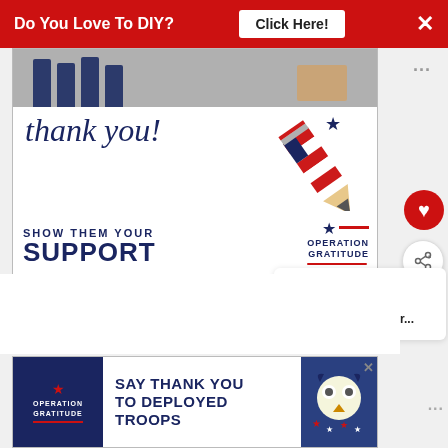[Figure (infographic): Red banner advertisement header: 'Do You Love To DIY? Click Here!' with close X button]
[Figure (infographic): Operation Gratitude 'Thank you! Show Them Your Support' advertisement with pencil graphic and military personnel]
WHAT'S NEXT → Christmas Home Decor...
[Figure (infographic): Operation Gratitude bottom banner ad: 'Say Thank You To Deployed Troops']